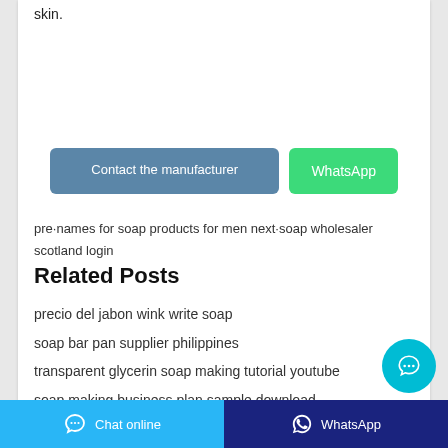skin.
Contact the manufacturer | WhatsApp
pre·names for soap products for men next·soap wholesaler scotland login
Related Posts
precio del jabon wink write soap
soap bar pan supplier philippines
transparent glycerin soap making tutorial youtube
soap making business plan sample download
bulk powder soap brands
Chat online  |  WhatsApp